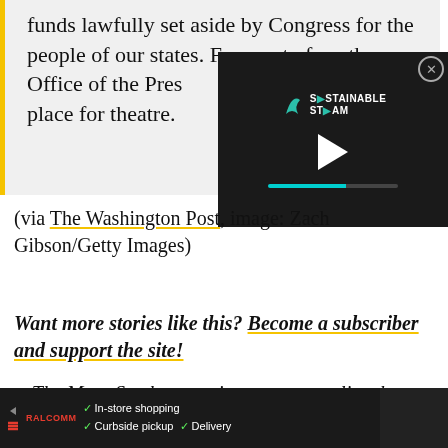funds lawfully set aside by Congress for the people of our states. For most of us, the Office of the Pres[ident] is no place for theatre.
[Figure (screenshot): Dark video player overlay showing 'Sustainable Steam' logo with a teal stylized S icon, a white play button triangle, and a teal progress bar at the bottom. A close (X) button is in the top right corner.]
(via The Washington Post, image: Zach Gibson/Getty Images)
Want more stories like this? Become a subscriber and support the site!
—The Mary Sue has a strict comment policy that forbids, but is not limited to, personal insults toward
[Figure (screenshot): Dark ad bar at the bottom showing a red logo, checkmarks with 'In-store shopping', 'Curbside pickup', 'Delivery', a blue navigation icon, and a weather widget on the right.]